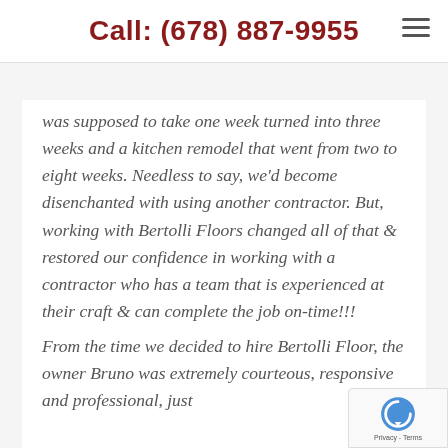Call: (678) 887-9955
was supposed to take one week turned into three weeks and a kitchen remodel that went from two to eight weeks. Needless to say, we'd become disenchanted with using another contractor. But, working with Bertolli Floors changed all of that & restored our confidence in working with a contractor who has a team that is experienced at their craft & can complete the job on-time!!!

From the time we decided to hire Bertolli Floor, the owner Bruno was extremely courteous, responsive and professional, just